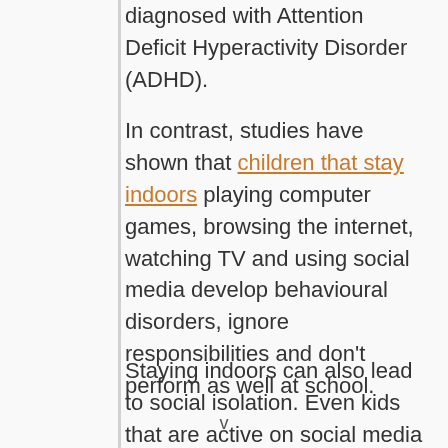diagnosed with Attention Deficit Hyperactivity Disorder (ADHD).
In contrast, studies have shown that children that stay indoors playing computer games, browsing the internet, watching TV and using social media develop behavioural disorders, ignore responsibilities and don't perform as well at school.
Staying indoors can also lead to social isolation. Even kids that are active on social media platforms are not immune
v